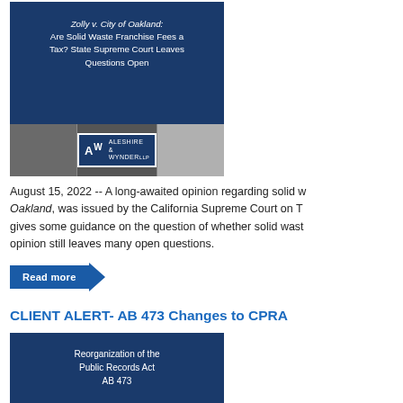[Figure (illustration): Article thumbnail image with dark blue background showing text 'Zolly v. City of Oakland: Are Solid Waste Franchise Fees a Tax? State Supreme Court Leaves Questions Open' and Aleshire & Wynder LLP logo over a photo strip of bridge, fields, and wind turbines]
August 15, 2022 -- A long-awaited opinion regarding solid w... Oakland, was issued by the California Supreme Court on T... gives some guidance on the question of whether solid wast... opinion still leaves many open questions.
Read more
CLIENT ALERT- AB 473 Changes to CPRA
[Figure (illustration): Article thumbnail image with dark blue background showing text 'Reorganization of the Public Records Act AB 473' and Aleshire & Wynder LLP logo over a photo strip]